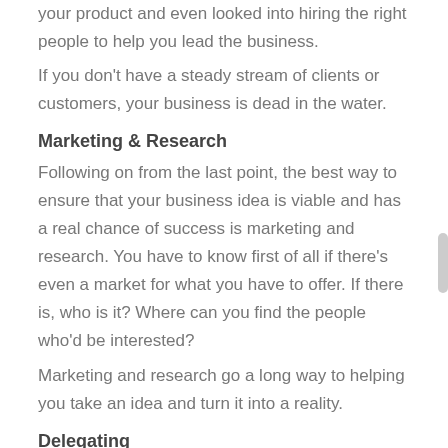your product and even looked into hiring the right people to help you lead the business. If you don't have a steady stream of clients or customers, your business is dead in the water.
Marketing & Research
Following on from the last point, the best way to ensure that your business idea is viable and has a real chance of success is marketing and research. You have to know first of all if there's even a market for what you have to offer. If there is, who is it? Where can you find the people who'd be interested? Marketing and research go a long way to helping you take an idea and turn it into a reality.
Delegating
One common trait among small brand owners is the sense of responsibility they feel for their